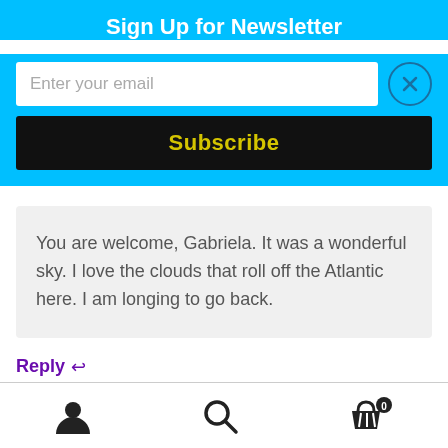Sign Up for Newsletter
Enter your email
Subscribe
You are welcome, Gabriela. It was a wonderful sky. I love the clouds that roll off the Atlantic here. I am longing to go back.
Reply ↩